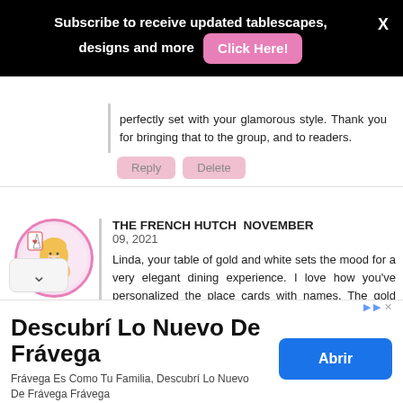Subscribe to receive updated tablescapes, designs and more  Click Here!  X
perfectly set with your glamorous style. Thank you for bringing that to the group, and to readers.
Reply  Delete
THE FRENCH HUTCH  NOVEMBER 09, 2021
Linda, your table of gold and white sets the mood for a very elegant dining experience. I love how you've personalized the place cards with names. The gold and white pumpkin centerpiece is lovely and I especially
[Figure (illustration): Circular avatar with pink border showing illustrated character with blonde hair and decorative elements]
Descubrí Lo Nuevo De Frávega
Frávega Es Como Tu Familia, Descubrí Lo Nuevo De Frávega Frávega
Abrir